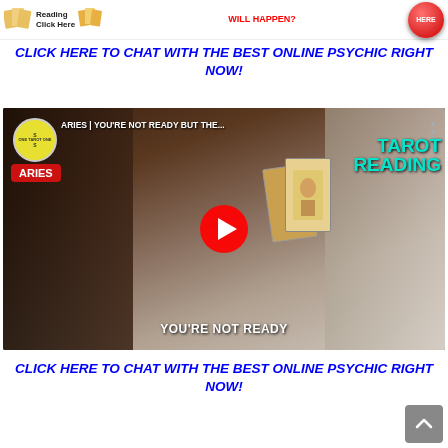[Figure (screenshot): Top banner with tarot reading ad imagery and red button saying HERE]
CLICK HERE TO CHAT WITH THE BEST ONLINE PSYCHIC RIGHT NOW!
[Figure (screenshot): YouTube video thumbnail: ARIES | YOU'RE NOT READY BUT THE... TAROT READING, with play button and YOU'RE NOT READY text overlay]
CLICK HERE TO CHAT WITH THE BEST ONLINE PSYCHIC RIGHT NOW!